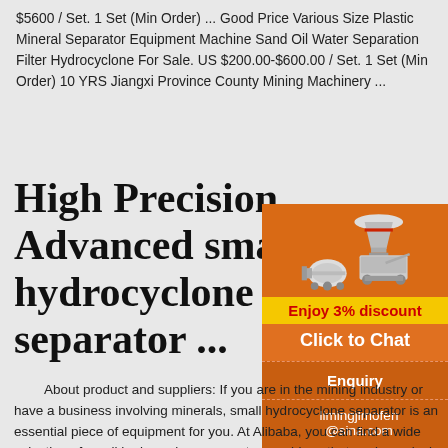$5600 / Set. 1 Set (Min Order) ... Good Price Various Size Plastic Mineral Separator Equipment Machine Sand Oil Water Separation Filter Hydrocyclone For Sale. US $200.00-$600.00 / Set. 1 Set (Min Order) 10 YRS Jiangxi Province County Mining Machinery ...
High Precision, Advanced small hydrocyclone separator ...
[Figure (photo): Advertisement banner with orange background showing industrial mining machinery (crushers, separator equipment). Contains 'Enjoy 3% discount' in yellow/red text, 'Click to Chat' button, 'Enquiry' section, and email limingjlmofen@sina.com]
About product and suppliers: If you are in the mining industry or have a business involving minerals, small hydrocyclone separator is an essential piece of equipment for you. At Alibaba, you can find a wide selection of small hydrocyclone separator machines that work precisely and can ease your work greatly. These hydrocyclone separator machines deliver high-volume screening results and